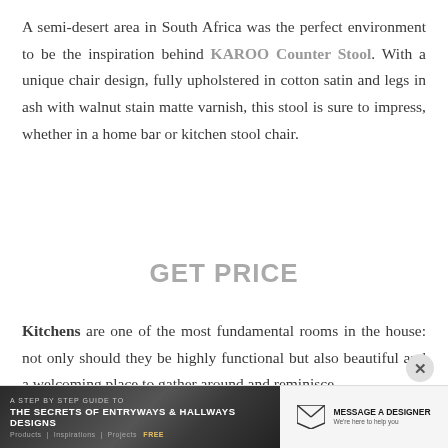A semi-desert area in South Africa was the perfect environment to be the inspiration behind KAROO Counter Stool. With a unique chair design, fully upholstered in cotton satin and legs in ash with walnut stain matte varnish, this stool is sure to impress, whether in a home bar or kitchen stool chair.
GET PRICE
Kitchens are one of the most fundamental rooms in the house: not only should they be highly functional but also beautiful and a welcoming place to gather around and reminisce.
[Figure (screenshot): Bottom banner advertisement: dark background showing 'A STEP BY STEP GUIDE TO THE SECRETS OF ENTRYWAYS & HALLWAYS DESIGNS' with navigation links (Products, Inspirations, Projects) and FREE label on the left side; right side shows 'MESSAGE A DESIGNER - We're here to help you' on light background with paper plane icon. A close (X) button appears above the banner.]